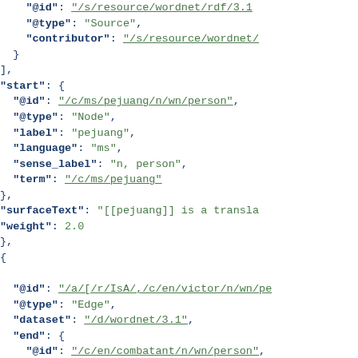JSON code snippet showing linked data structure with @id, @type, contributor, start node (pejuang), surfaceText, weight, and a second edge object with @id, @type, dataset, end node (combatant)